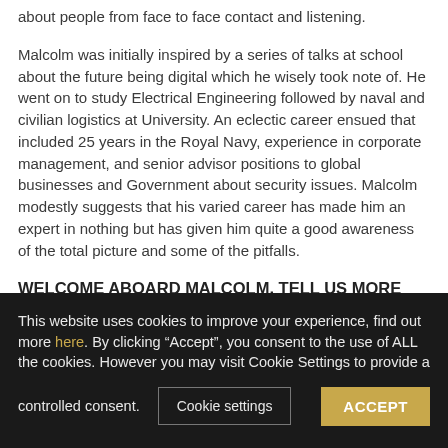about people from face to face contact and listening.
Malcolm was initially inspired by a series of talks at school about the future being digital which he wisely took note of. He went on to study Electrical Engineering followed by naval and civilian logistics at University. An eclectic career ensued that included 25 years in the Royal Navy, experience in corporate management, and senior advisor positions to global businesses and Government about security issues. Malcolm modestly suggests that his varied career has made him an expert in nothing but has given him quite a good awareness of the total picture and some of the pitfalls.
WELCOME ABOARD MALCOLM, TELL US MORE ABOUT YOUR EXPERIENCE IN MARITIME CYBER SECURITY.
I first got interested in the challenges of cyber security when reading the papers of Vice Admiral John Godfrey- Director of Naval Intelligence from 1939 to 1942- accredited by Ian Fleming as his model for “M”. Godfrey saw the threats going forward from
This website uses cookies to improve your experience, find out more here. By clicking “Accept”, you consent to the use of ALL the cookies. However you may visit Cookie Settings to provide a controlled consent.